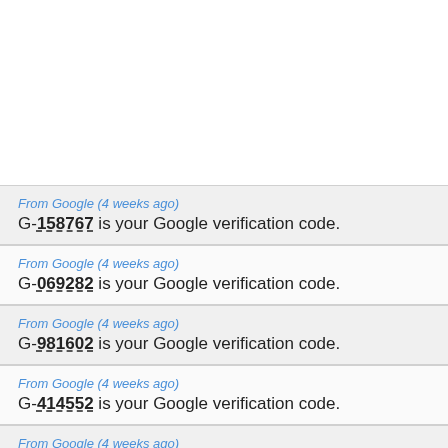From Google (4 weeks ago)
G-158767 is your Google verification code.
From Google (4 weeks ago)
G-069282 is your Google verification code.
From Google (4 weeks ago)
G-981602 is your Google verification code.
From Google (4 weeks ago)
G-414552 is your Google verification code.
From Google (4 weeks ago)
G-867073 is your Google verification code.